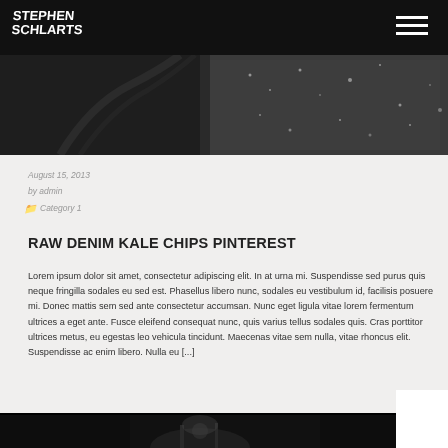Stephen Schlarts
[Figure (photo): Aerial/overhead black and white photo of a crowd or landscape scene]
August 15, 2013
by admin
Category 1
RAW DENIM KALE CHIPS PINTEREST
Lorem ipsum dolor sit amet, consectetur adipiscing elit. In at urna mi. Suspendisse sed purus quis neque fringilla sodales eu sed est. Phasellus libero nunc, sodales eu vestibulum id, facilisis posuere mi. Donec mattis sem sed ante consectetur accumsan. Nunc eget ligula vitae lorem fermentum ultrices a eget ante. Fusce eleifend consequat nunc, quis varius tellus sodales quis. Cras porttitor ultrices metus, eu egestas leo vehicula tincidunt. Maecenas vitae sem nulla, vitae rhoncus elit. Suspendisse ac enim libero. Nulla eu [...]
[Figure (photo): Dark black and white photo of a concert or live event scene at the bottom of the page]